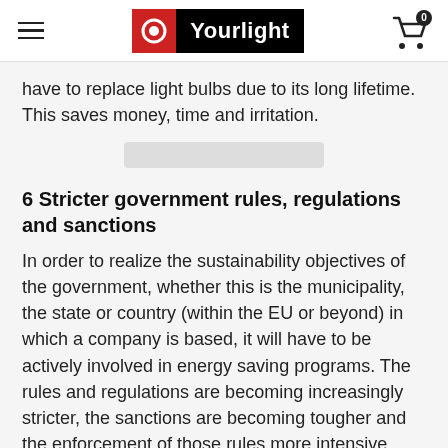Yourlight
have to replace light bulbs due to its long lifetime. This saves money, time and irritation.
6 Stricter government rules, regulations and sanctions
In order to realize the sustainability objectives of the government, whether this is the municipality, the state or country (within the EU or beyond) in which a company is based, it will have to be actively involved in energy saving programs. The rules and regulations are becoming increasingly stricter, the sanctions are becoming tougher and the enforcement of those rules more intensive.